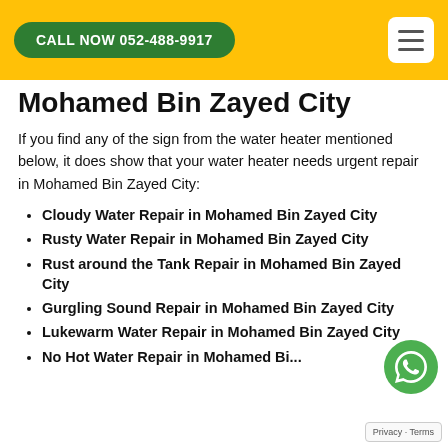CALL NOW 052-488-9917
Mohamed Bin Zayed City
If you find any of the sign from the water heater mentioned below, it does show that your water heater needs urgent repair in Mohamed Bin Zayed City:
Cloudy Water Repair in Mohamed Bin Zayed City
Rusty Water Repair in Mohamed Bin Zayed City
Rust around the Tank Repair in Mohamed Bin Zayed City
Gurgling Sound Repair in Mohamed Bin Zayed City
Lukewarm Water Repair in Mohamed Bin Zayed City
No Hot Water Repair in Mohamed Bin...